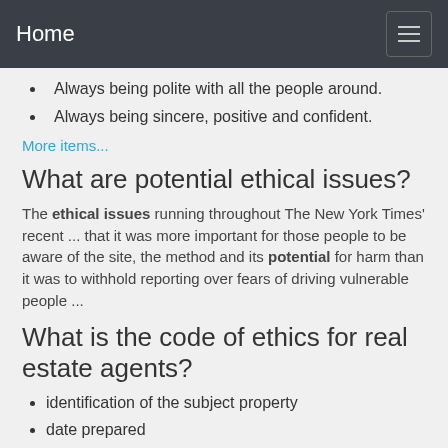Home
Always being polite with all the people around.
Always being sincere, positive and confident.
More items...
What are potential ethical issues?
The ethical issues running throughout The New York Times' recent ... that it was more important for those people to be aware of the site, the method and its potential for harm than it was to withhold reporting over fears of driving vulnerable people ...
What is the code of ethics for real estate agents?
identification of the subject property
date prepared